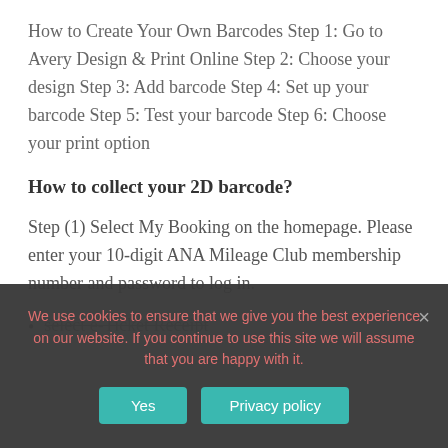How to Create Your Own Barcodes Step 1: Go to Avery Design & Print Online Step 2: Choose your design Step 3: Add barcode Step 4: Set up your barcode Step 5: Test your barcode Step 6: Choose your print option
How to collect your 2D barcode?
Step (1) Select My Booking on the homepage. Please enter your 10-digit ANA Mileage Club membership number and password to log in.
select e-Ticket Receipt
We use cookies to ensure that we give you the best experience on our website. If you continue to use this site we will assume that you are happy with it.